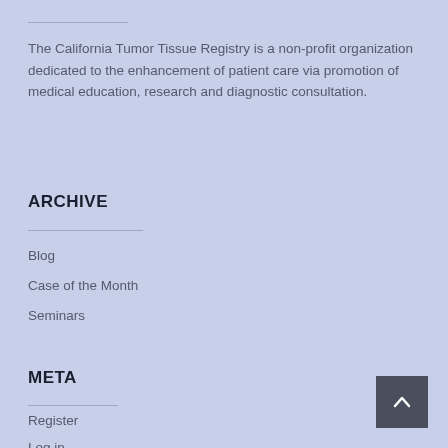The California Tumor Tissue Registry is a non-profit organization dedicated to the enhancement of patient care via promotion of medical education, research and diagnostic consultation.
ARCHIVE
Blog
Case of the Month
Seminars
META
Register
Log in